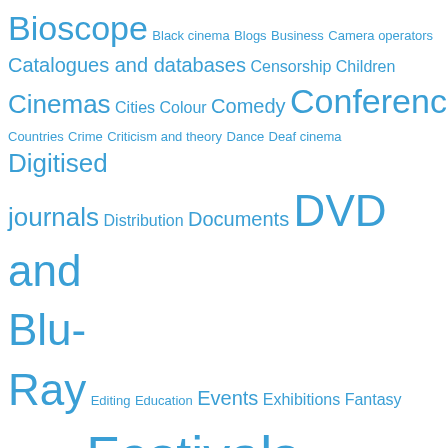[Figure (infographic): Tag cloud of cinema/film-related topics in varying font sizes and shades of blue, indicating relative frequency or importance. Terms include Bioscope, Black cinema, Blogs, Business, Camera operators, Catalogues and databases, Censorship, Children, Cinemas, Cities, Colour, Comedy, Conferences, Countries, Crime, Criticism and theory, Dance, Deaf cinema, Digitised journals, Distribution, Documents, DVD and Blu-Ray, Editing, Education, Events, Exhibitions, Fantasy and horror, Festivals, Film Archives, Filmmakers, Filmographies, General, Horror, Images, Interviews, Latin American film, Law, Literature, Lost films, Magic lanterns, Mashups, Melodrama, Modern silents, Music, Newsreel, Non-fiction, Obituaries, Online videos, Organisations, Others arts, People, Performers, Photography, Podcasts, Poetry, Politics, Pro-cinema]